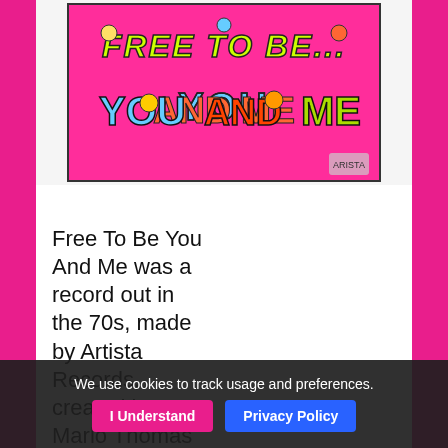[Figure (illustration): Album cover for 'Free To Be You And Me' on a bright pink/magenta background with colorful cartoon-style lettering and illustrated characters. The text 'FREE TO BE...' appears at top in yellow-green letters and 'YOU AND ME' appears below in large blue and multicolored letters with cartoon children figures incorporated into the letters. A small logo appears in the lower right corner.]
Free To Be You And Me was a record out in the 70s, made by Artista Records, created by Marlo Thomas and friends.
We use cookies to track usage and preferences.